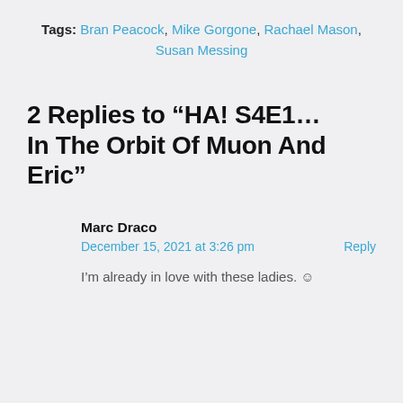Tags: Bran Peacock, Mike Gorgone, Rachael Mason, Susan Messing
2 Replies to “HA! S4E1… In The Orbit Of Muon And Eric”
Marc Draco
December 15, 2021 at 3:26 pm
Reply
I’m already in love with these ladies. ☺